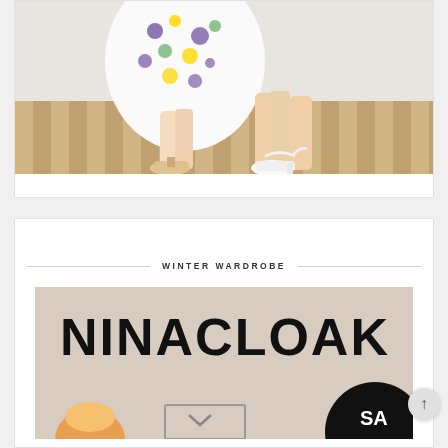[Figure (photo): Photo showing lower half of two people wearing dresses and shoes, standing on a wooden floor with white brick wall background. Left person wears flat shoes with straps, right person wears white heeled sandals with ankle ties. A floral print dress is visible.]
WINTER WARDROBE
[Figure (photo): NinaCloak fashion brand banner image on a beige/tan background. Large bold black text reads 'NINACLOAK'. A black circular badge is partially visible at the bottom right with white text starting 'SA'. A blonde person is partially visible at the bottom. A rectangular box outline is at the bottom center.]